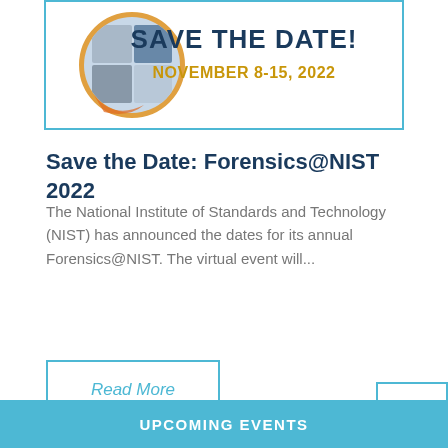[Figure (infographic): Save the Date banner for Forensics@NIST event, November 8-15, 2022. Features a circular collage of forensic images on the left and bold text 'SAVE THE DATE!' with 'NOVEMBER 8-15, 2022' in gold on the right, all within a blue-bordered white rectangle.]
Save the Date: Forensics@NIST 2022
The National Institute of Standards and Technology (NIST) has announced the dates for its annual Forensics@NIST. The virtual event will...
Read More
UPCOMING EVENTS